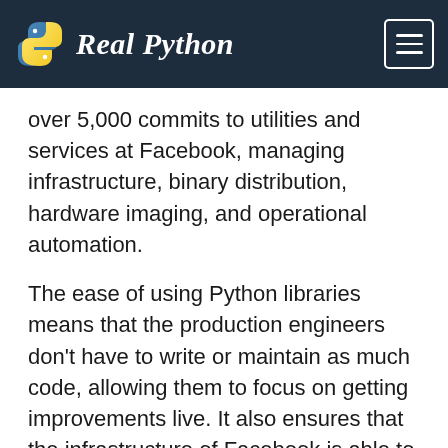Real Python
over 5,000 commits to utilities and services at Facebook, managing infrastructure, binary distribution, hardware imaging, and operational automation.
The ease of using Python libraries means that the production engineers don't have to write or maintain as much code, allowing them to focus on getting improvements live. It also ensures that the infrastructure of Facebook is able to scale efficiently.
According to a 2016 post by Facebook, Python is currently responsible for multiple services in infrastructure management. These include using TORconfig to handle network switch setup and imaging, FBOSS for whitebox switch CLIs, and using